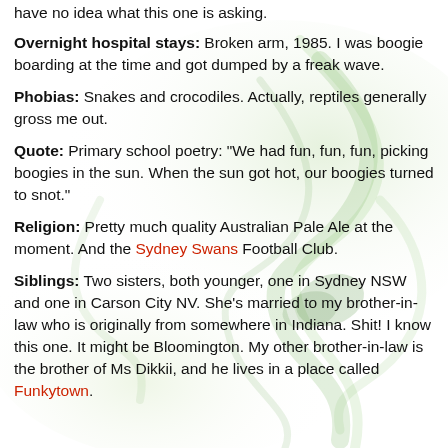have no idea what this one is asking.
Overnight hospital stays: Broken arm, 1985. I was boogie boarding at the time and got dumped by a freak wave.
Phobias: Snakes and crocodiles. Actually, reptiles generally gross me out.
Quote: Primary school poetry: "We had fun, fun, fun, picking boogies in the sun. When the sun got hot, our boogies turned to snot."
Religion: Pretty much quality Australian Pale Ale at the moment. And the Sydney Swans Football Club.
Siblings: Two sisters, both younger, one in Sydney NSW and one in Carson City NV. She's married to my brother-in-law who is originally from somewhere in Indiana. Shit! I know this one. It might be Bloomington. My other brother-in-law is the brother of Ms Dikkii, and he lives in a place called Funkytown.